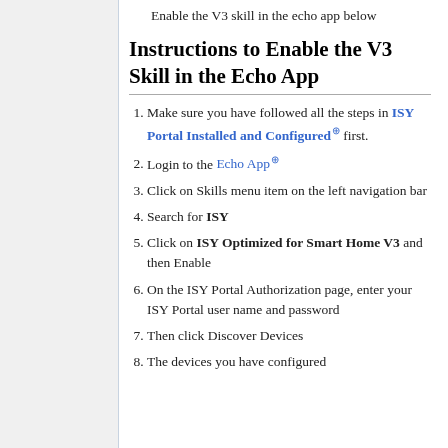Enable the V3 skill in the echo app below
Instructions to Enable the V3 Skill in the Echo App
Make sure you have followed all the steps in ISY Portal Installed and Configured first.
Login to the Echo App
Click on Skills menu item on the left navigation bar
Search for ISY
Click on ISY Optimized for Smart Home V3 and then Enable
On the ISY Portal Authorization page, enter your ISY Portal user name and password
Then click Discover Devices
The devices you have configured